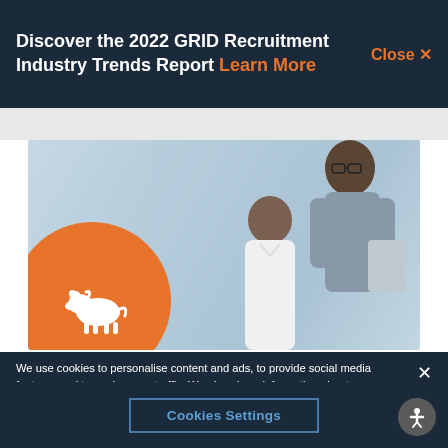Discover the 2022 GRID Recruitment Industry Trends Report Learn More  Close X
[Figure (photo): Two business men looking at a tablet device. One man standing wearing glasses and grey shirt, one man seated in white shirt. An orange circle with a white bull logo overlaps the lower-left of the image.]
We use cookies to personalise content and ads, to provide social media features and to analyse our traffic. We also share information about your use of our site with our social media, advertising and analytics partners.
Cookies Settings